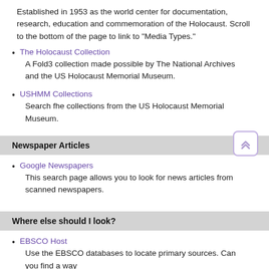Established in 1953 as the world center for documentation, research, education and commemoration of the Holocaust. Scroll to the bottom of the page to link to "Media Types."
The Holocaust Collection
A Fold3 collection made possible by The National Archives and the US Holocaust Memorial Museum.
USHMM Collections
Search fhe collections from the US Holocaust Memorial Museum.
Newspaper Articles
Google Newspapers
This search page allows you to look for news articles from scanned newspapers.
Where else should I look?
EBSCO Host
Use the EBSCO databases to locate primary sources. Can you find a way